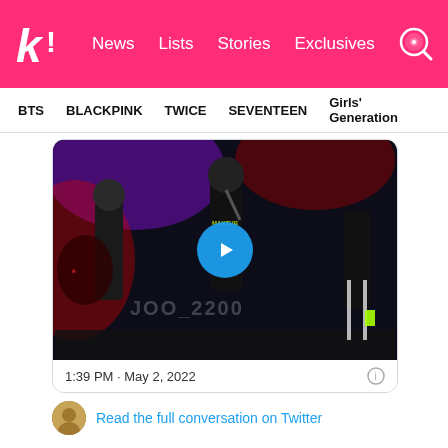k! News Lists Stories Exclusives
BTS BLACKPINK TWICE SEVENTEEN Girls' Generation
[Figure (photo): Concert video thumbnail showing K-pop performers on stage in black outfits, with a blue play button overlay and watermark text 'JOO_2200']
1:39 PM · May 2, 2022
Read the full conversation on Twitter